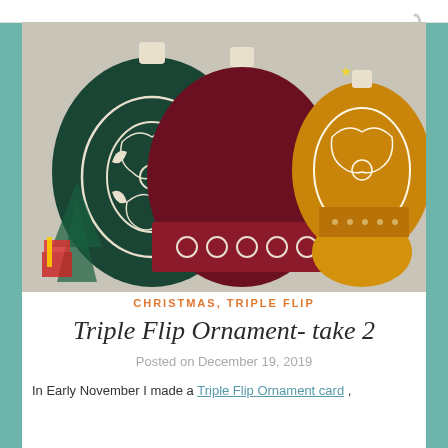[Figure (photo): Three decorative Christmas ornaments flat lay photo: a dark green ornament with white filigree pattern on the left, a dark red/maroon ornament with floral pattern in the middle, and a yellow/gold ornament with white lace pattern on the right, set against a festive Christmas background with gifts and decorations.]
CHRISTMAS, TRIPLE FLIP
Triple Flip Ornament- take 2
Posted on December 19, 2019
In Early November I made a Triple Flip Ornament card ,